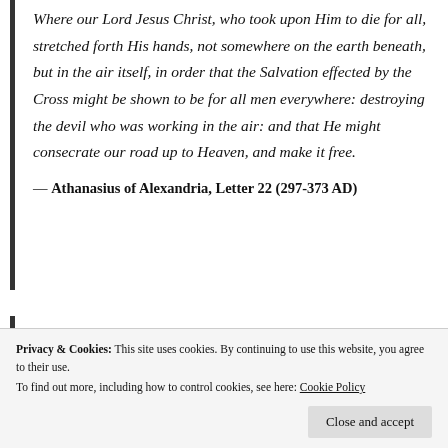Where our Lord Jesus Christ, who took upon Him to die for all, stretched forth His hands, not somewhere on the earth beneath, but in the air itself, in order that the Salvation effected by the Cross might be shown to be for all men everywhere: destroying the devil who was working in the air: and that He might consecrate our road up to Heaven, and make it free.
— Athanasius of Alexandria, Letter 22 (297-373 AD)
“I have need to be baptized by You, and You come to
Privacy & Cookies: This site uses cookies. By continuing to use this website, you agree to their use. To find out more, including how to control cookies, see here: Cookie Policy
Close and accept
sets it right beforehand, by calling Him both Lamb,